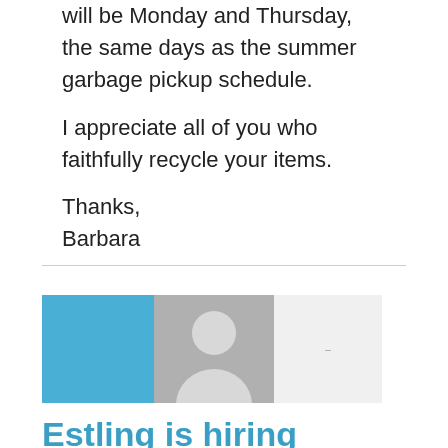will be Monday and Thursday, the same days as the summer garbage pickup schedule.
I appreciate all of you who faithfully recycle your items.
Thanks,
Barbara
[Figure (illustration): Profile card graphic with a blue left panel, a gray silhouette avatar in the center, and a light gray right panel with a small dash/text element.]
Estling is hiring